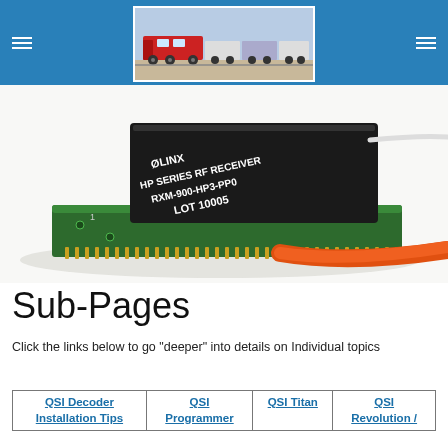Navigation header with hamburger menus and train logo image
[Figure (photo): Close-up photo of a Linx HP Series RF Receiver chip (model RXM-900-HP3-PP0, LOT 10005) mounted on a green PCB circuit board with pins, with an orange wire cable visible in the foreground, on a white background.]
Sub-Pages
Click the links below to go "deeper" into details on Individual topics
| QSI Decoder Installation Tips | QSI Programmer | QSI Titan | QSI Revolution / |
| --- | --- | --- | --- |
|  |